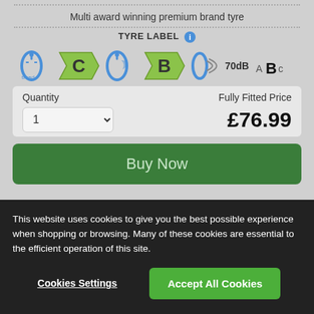Multi award winning premium brand tyre
TYRE LABEL ℹ
[Figure (infographic): Tyre label rating icons: fuel efficiency C (yellow-green arrow), wet grip B (yellow-green arrow), noise 70dB, and ABC rating]
Quantity
Fully Fitted Price
£76.99
Buy Now
This website uses cookies to give you the best possible experience when shopping or browsing. Many of these cookies are essential to the efficient operation of this site.
Cookies Settings
Accept All Cookies